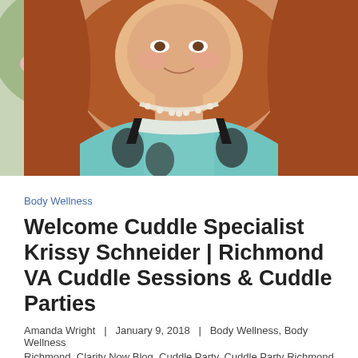[Figure (photo): Portrait photo of a woman with long reddish-brown hair wearing a floral teal/black/white top and pearl necklace, photographed outdoors in front of pink magnolia blossoms]
Body Wellness
Welcome Cuddle Specialist Krissy Schneider | Richmond VA Cuddle Sessions & Cuddle Parties
Amanda Wright  |  January 9, 2018  |  Body Wellness, Body Wellness
Richmond, Clarity Now Blog, Cuddle Party, Cuddle Party Richmond